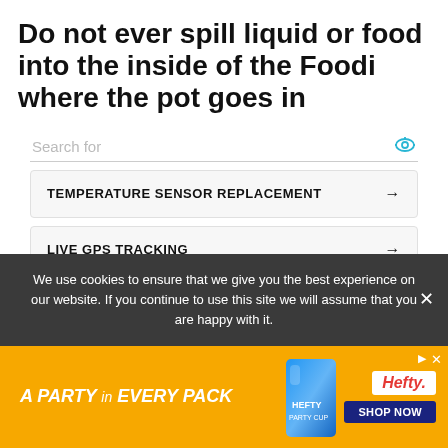Do not ever spill liquid or food into the inside of the Foodi where the pot goes in
TEMPERATURE SENSOR REPLACEMENT →
LIVE GPS TRACKING →
BANK OWNED CARS FOR SALE →
SATELLITE LIVE VIEW →
We use cookies to ensure that we give you the best experience on our website. If you continue to use this site we will assume that you are happy with it.
[Figure (infographic): Orange advertisement banner for Hefty party cups. Text reads 'A PARTY in EVERY PACK'. Shows blue Hefty cup bottle image and Hefty logo with SHOP NOW button.]